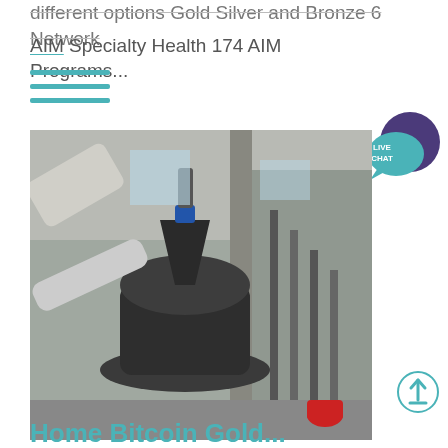different options Gold Silver and Bronze 6 Network AIM Specialty Health 174 AIM Programs...
[Figure (photo): Industrial grinding mill machine in a large concrete factory building with metal scaffolding and pipes]
Home Bitcoin Gold...